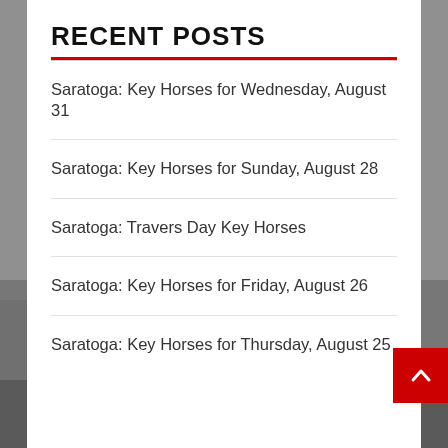RECENT POSTS
Saratoga: Key Horses for Wednesday, August 31
Saratoga: Key Horses for Sunday, August 28
Saratoga: Travers Day Key Horses
Saratoga: Key Horses for Friday, August 26
Saratoga: Key Horses for Thursday, August 25